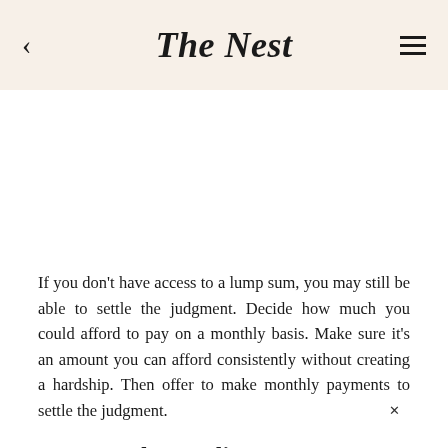The Nest
If you don't have access to a lump sum, you may still be able to settle the judgment. Decide how much you could afford to pay on a monthly basis. Make sure it's an amount you can afford consistently without creating a hardship. Then offer to make monthly payments to settle the judgment.
Contact The Creditor